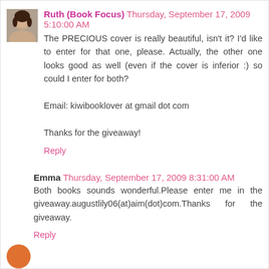[Figure (photo): Small avatar photo of a woman with dark hair]
Ruth (Book Focus) Thursday, September 17, 2009 5:10:00 AM
The PRECIOUS cover is really beautiful, isn't it? I'd like to enter for that one, please. Actually, the other one looks good as well (even if the cover is inferior :) so could I enter for both?

Email: kiwibooklover at gmail dot com

Thanks for the giveaway!
Reply
Emma Thursday, September 17, 2009 8:31:00 AM
Both books sounds wonderful.Please enter me in the giveaway.augustlily06(at)aim(dot)com.Thanks for the giveaway.
Reply
[Figure (photo): Small orange circular avatar at bottom left]